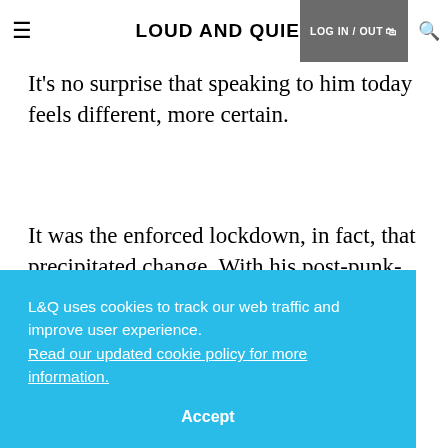≡  LOUD AND QUIET  LOG IN / OUT  🔍
It's no surprise that speaking to him today feels different, more certain.
It was the enforced lockdown, in fact, that precipitated change. With his post-punk-cum-[text obscured by cookie banner]
L&Q uses cookies to track our web traffic and improve user experience. Read our updated cookie policy for more information. Accept